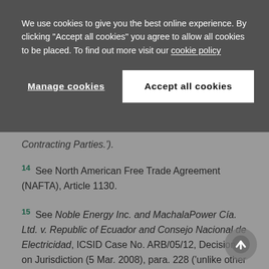We use cookies to give you the best online experience. By clicking "Accept all cookies" you agree to allow all cookies to be placed. To find out more visit our cookie policy
Manage cookies
Accept all cookies
Contracting Parties.').
14 See North American Free Trade Agreement (NAFTA), Article 1130.
15 See Noble Energy Inc. and MachalaPower Cía. Ltd. v. Republic of Ecuador and Consejo Nacional de Electricidad, ICSID Case No. ARB/05/12, Decision on Jurisdiction (5 Mar. 2008), para. 228 ('unlike other types of arbitration, the place of arbitration in ICSID